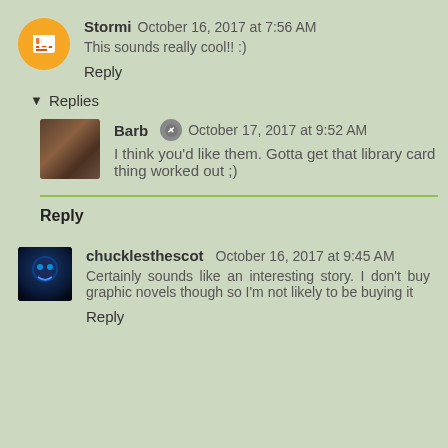Stormi  October 16, 2017 at 7:56 AM
This sounds really cool!! :)
Reply
Replies
Barb  October 17, 2017 at 9:52 AM
I think you'd like them. Gotta get that library card thing worked out ;)
Reply
chucklesthescot  October 16, 2017 at 9:45 AM
Certainly sounds like an interesting story. I don't buy graphic novels though so I'm not likely to be buying it
Reply